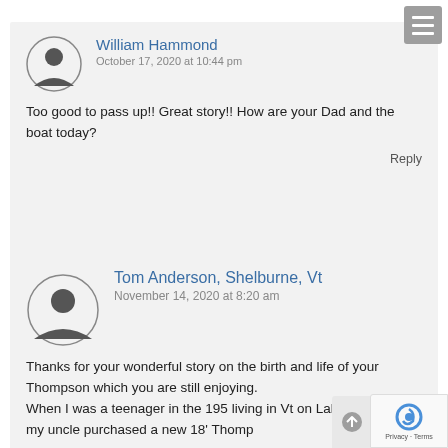[Figure (screenshot): Hamburger menu button (three horizontal lines) in top-right corner, grey background]
William Hammond
October 17, 2020 at 10:44 pm
Too good to pass up!! Great story!! How are your Dad and the boat today?
Reply
Tom Anderson, Shelburne, Vt
November 14, 2020 at 8:20 am
Thanks for your wonderful story on the birth and life of your Thompson which you are still enjoying. When I was a teenager in the 195 living in Vt on Lake Champlain my uncle purchased a new 18' Thomp...